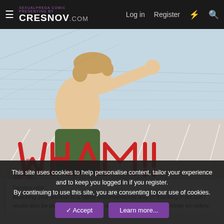CRESNOV.com — Log in  Register
[Figure (illustration): Comic panel showing two characters: one shirtless person with light skin and curly/wavy hair reaching forward, wearing dark green pants; another person in dark jeans and a brown top. Motion lines in background suggesting fast movement. Large red comic lettering visible at bottom.]
Tamara said:

Attacking your saviour is a rather unconventional way of thanking them but I would also be pissed off if someone woke me up from a deep sleep so rudely.
[Figure (illustration): Bottom partial comic panel showing beige/pink background with partial text 'YOU SAVED ME...' and golden/brown hair of a character.]
This site uses cookies to help personalise content, tailor your experience and to keep you logged in if you register.
By continuing to use this site, you are consenting to our use of cookies.

✓ Accept    Learn more...